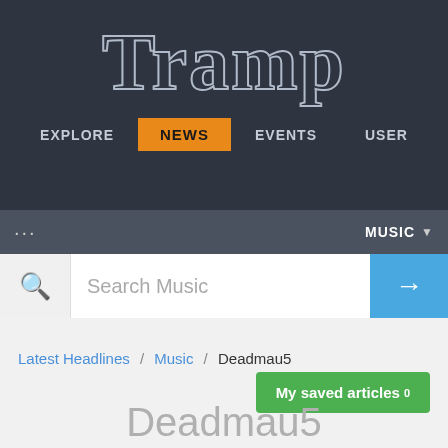Tramp
Explore  News  Events  User
... MUSIC ▾
Search Music
Latest Headlines / Music / Deadmau5
My saved articles 0
Deadmau5